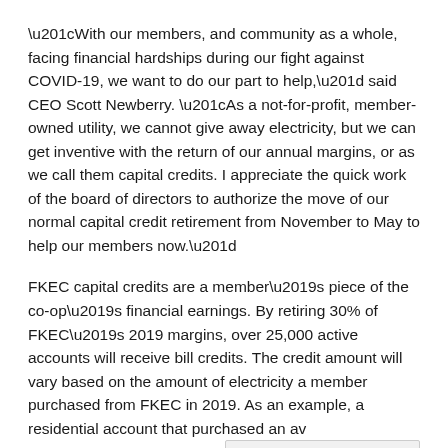“With our members, and community as a whole, facing financial hardships during our fight against COVID-19, we want to do our part to help,” said CEO Scott Newberry. “As a not-for-profit, member-owned utility, we cannot give away electricity, but we can get inventive with the return of our annual margins, or as we call them capital credits. I appreciate the quick work of the board of directors to authorize the move of our normal capital credit retirement from November to May to help our members now.”
FKEC capital credits are a member’s piece of the co-op’s financial earnings. By retiring 30% of FKEC’s 2019 margins, over 25,000 active accounts will receive bill credits. The credit amount will vary based on the amount of electricity a member purchased from FKEC in 2019. As an example, a residential account that purchased an av… electricity last year will receive a credit of approximately…